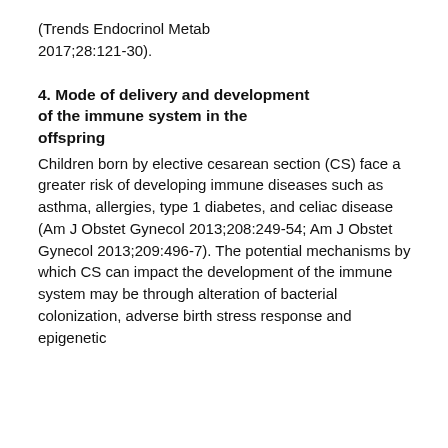(Trends Endocrinol Metab 2017;28:121-30).
4. Mode of delivery and development of the immune system in the offspring
Children born by elective cesarean section (CS) face a greater risk of developing immune diseases such as asthma, allergies, type 1 diabetes, and celiac disease (Am J Obstet Gynecol 2013;208:249-54; Am J Obstet Gynecol 2013;209:496-7). The potential mechanisms by which CS can impact the development of the immune system may be through alteration of bacterial colonization, adverse birth stress response and epigenetic